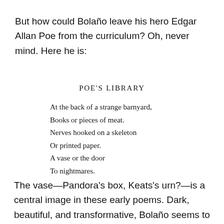But how could Bolaño leave his hero Edgar Allan Poe from the curriculum? Oh, never mind. Here he is:
POE'S LIBRARY
At the back of a strange barnyard,
Books or pieces of meat.
Nerves hooked on a skeleton
Or printed paper.
A vase or the door
To nightmares.
The vase—Pandora's box, Keats's urn?—is a central image in these early poems. Dark, beautiful, and transformative, Bolaño seems to